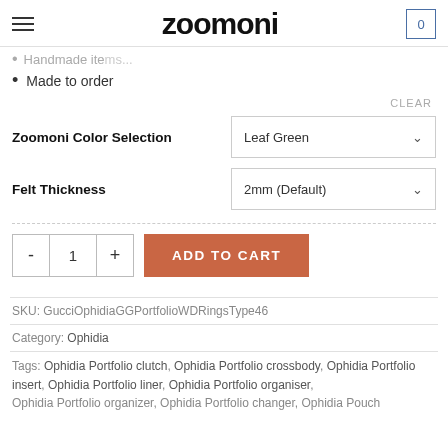zoomoni
Handmade ite...
Made to order
CLEAR
Zoomoni Color Selection — Leaf Green
Felt Thickness — 2mm (Default)
- 1 + ADD TO CART
SKU: GucciOphidiaGGPortfolioWDRingsType46
Category: Ophidia
Tags: Ophidia Portfolio clutch, Ophidia Portfolio crossbody, Ophidia Portfolio insert, Ophidia Portfolio liner, Ophidia Portfolio organiser, Ophidia Portfolio organizer, Ophidia Portfolio changer, Ophidia Pouch